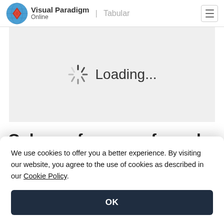Visual Paradigm Online | Tabular
[Figure (screenshot): Loading spinner with 'Loading...' text on a light grey background]
Cube surface area formula
We use cookies to offer you a better experience. By visiting our website, you agree to the use of cookies as described in our Cookie Policy.
OK